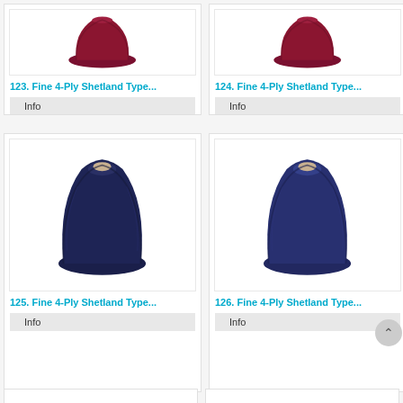[Figure (photo): Partially visible product card for item 123: Fine 4-Ply Shetland Type yarn cone in dark red/burgundy color, with Info button below]
[Figure (photo): Partially visible product card for item 124: Fine 4-Ply Shetland Type yarn cone in dark red/burgundy color, with Info button below]
[Figure (photo): Product card for item 125: Fine 4-Ply Shetland Type yarn cone in dark navy blue color, with Info button below]
[Figure (photo): Product card for item 126: Fine 4-Ply Shetland Type yarn cone in dark navy blue color, with Info button below]
123. Fine 4-Ply Shetland Type...
124. Fine 4-Ply Shetland Type...
125. Fine 4-Ply Shetland Type...
126. Fine 4-Ply Shetland Type...